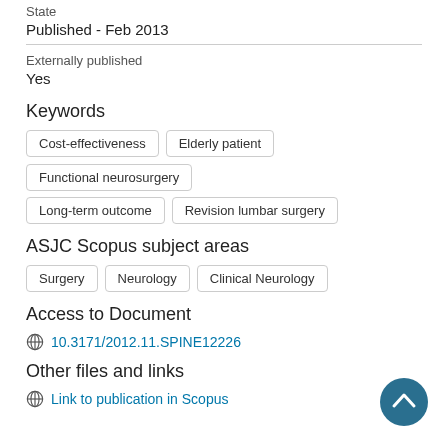State
Published - Feb 2013
Externally published
Yes
Keywords
Cost-effectiveness
Elderly patient
Functional neurosurgery
Long-term outcome
Revision lumbar surgery
ASJC Scopus subject areas
Surgery
Neurology
Clinical Neurology
Access to Document
10.3171/2012.11.SPINE12226
Other files and links
Link to publication in Scopus